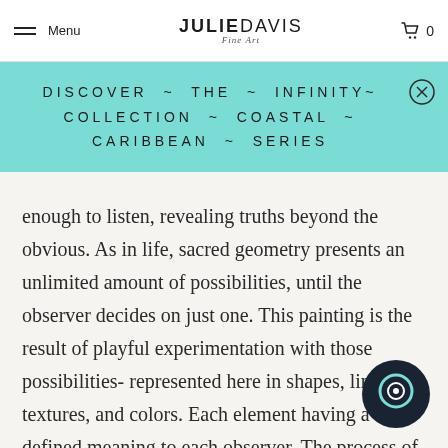Menu | JULIE DAVIS Fine Art | 🛒 0
DISCOVER ~ THE ~ INFINITY~ COLLECTION ~ COASTAL ~ CARIBBEAN ~ SERIES
enough to listen, revealing truths beyond the obvious. As in life, sacred geometry presents an unlimited amount of possibilities, until the observer decides on just one. This painting is the result of playful experimentation with those possibilities- represented here in shapes, lines, textures, and colors. Each element having a very defined meaning to each observer. The process of creating each painting is a thrilling and enlightening discovery that opens my eyes and mind to the world around me providing me healing and hope for a brighter future based on love and compassion -for us all. I hope that you can experience this state of awe through my paintings